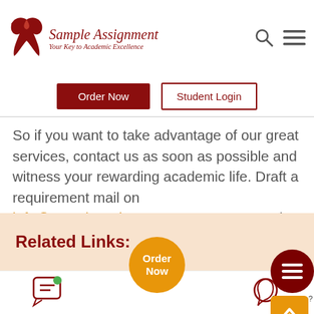[Figure (logo): Sample Assignment logo with bird icon and tagline 'Your Key to Academic Excellence']
Order Now
Student Login
So if you want to take advantage of our great services, contact us as soon as possible and witness your rewarding academic life. Draft a requirement mail on info@sampleassignment.com or contact via SMS, WhatsApp or Call. Our experts are available 24*7 to help you with your assignments.
Related Links:
[Figure (illustration): Chat/message icon at bottom left]
[Figure (illustration): Order Now orange circle button]
[Figure (illustration): WhatsApp phone icon at bottom right]
[Figure (illustration): Need Help dark red circle with hamburger lines]
[Figure (illustration): Orange up arrow button]